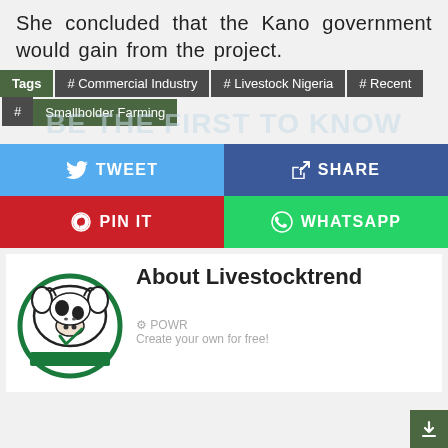She concluded that the Kano government would gain from the project.
Tags  # Commercial Industry  # Livestock Nigeria  # Recent  # Smallholder Farming
[Figure (infographic): Social sharing buttons: Tweet (blue), Share (dark blue), Pin It (red), WhatsApp (green)]
[Figure (logo): Livestocktrend logo: circular green border with pig and cow illustration]
About Livestocktrend